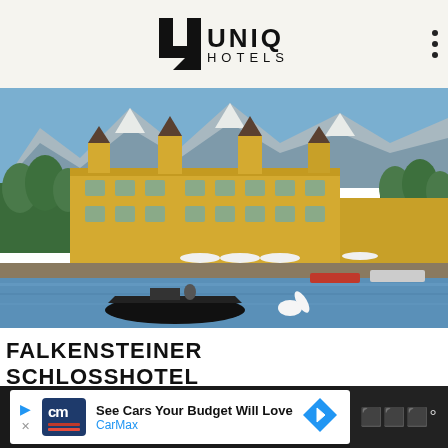[Figure (logo): UNIQ Hotels logo with stylized U and text UNIQ HOTELS]
[Figure (photo): Falkensteiner Schlosshotel Velden on the lake with a motorboat in front, mountains and blue sky in the background]
FALKENSTEINER
SCHLOSSHOTEL
[Figure (infographic): CarMax advertisement banner: See Cars Your Budget Will Love - CarMax]